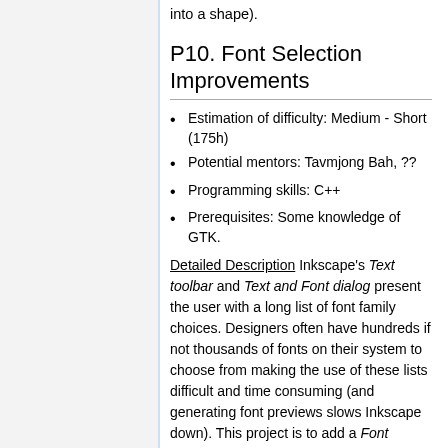into a shape).
P10. Font Selection Improvements
Estimation of difficulty: Medium - Short (175h)
Potential mentors: Tavmjong Bah, ??
Programming skills: C++
Prerequisites: Some knowledge of GTK.
Detailed Description Inkscape's Text toolbar and Text and Font dialog present the user with a long list of font family choices. Designers often have hundreds if not thousands of fonts on their system to choose from making the use of these lists difficult and time consuming (and generating font previews slows Inkscape down). This project is to add a Font